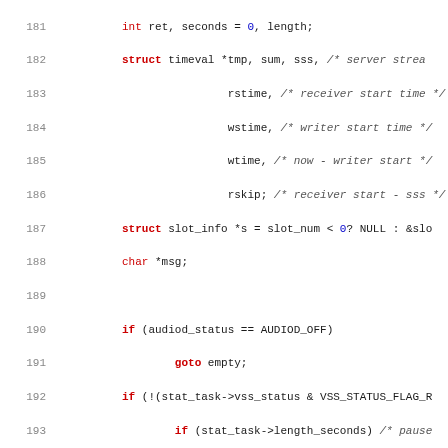[Figure (screenshot): Source code listing showing C code with line numbers 181-212. Code includes struct declarations, if statements, goto statements, and function calls. Syntax highlighting with red keywords, blue numbers, grey italic comments.]